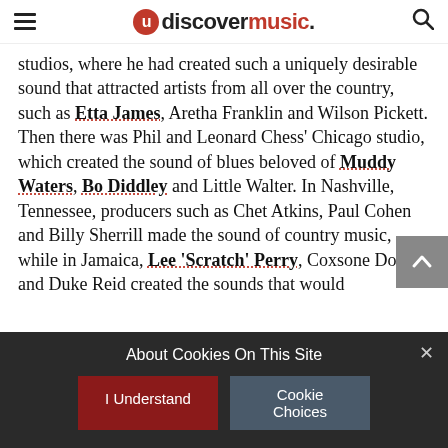udiscovermusic.
studios, where he had created such a uniquely desirable sound that attracted artists from all over the country, such as Etta James, Aretha Franklin and Wilson Pickett. Then there was Phil and Leonard Chess' Chicago studio, which created the sound of blues beloved of Muddy Waters, Bo Diddley and Little Walter. In Nashville, Tennessee, producers such as Chet Atkins, Paul Cohen and Billy Sherrill made the sound of country music, while in Jamaica, Lee 'Scratch' Perry, Coxsone Dodd and Duke Reid created the sounds that would
About Cookies On This Site
I Understand
Cookie Choices